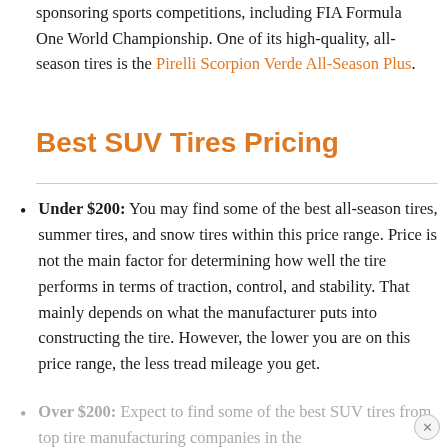sponsoring sports competitions, including FIA Formula One World Championship. One of its high-quality, all-season tires is the Pirelli Scorpion Verde All-Season Plus.
Best SUV Tires Pricing
Under $200: You may find some of the best all-season tires, summer tires, and snow tires within this price range. Price is not the main factor for determining how well the tire performs in terms of traction, control, and stability. That mainly depends on what the manufacturer puts into constructing the tire. However, the lower you are on this price range, the less tread mileage you get.
Over $200: Expect to find some of the best SUV tires from top tire manufacturing companies in the